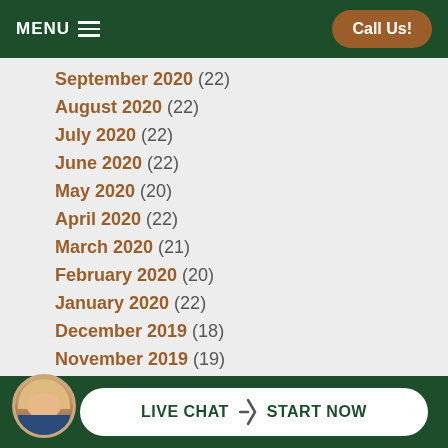MENU  Call Us!
September 2020 (22)
August 2020 (22)
July 2020 (22)
June 2020 (22)
May 2020 (20)
April 2020 (22)
March 2020 (21)
February 2020 (20)
January 2020 (22)
December 2019 (18)
November 2019 (19)
October 2019 (23)
September 2019 (21)
August 2019
LIVE CHAT  START NOW